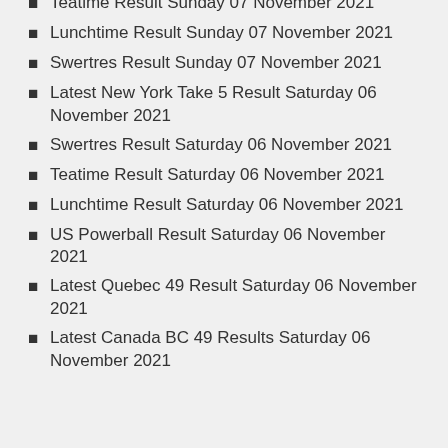Teatime Result Sunday 07 November 2021
Lunchtime Result Sunday 07 November 2021
Swertres Result Sunday 07 November 2021
Latest New York Take 5 Result Saturday 06 November 2021
Swertres Result Saturday 06 November 2021
Teatime Result Saturday 06 November 2021
Lunchtime Result Saturday 06 November 2021
US Powerball Result Saturday 06 November 2021
Latest Quebec 49 Result Saturday 06 November 2021
Latest Canada BC 49 Results Saturday 06 November 2021